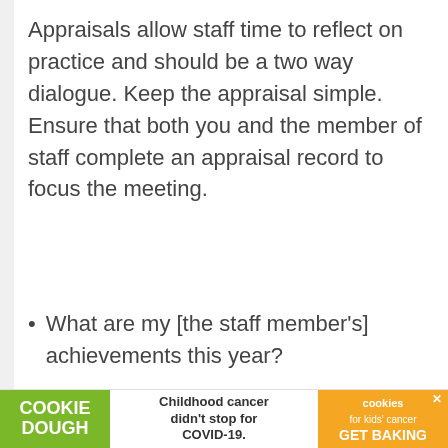Appraisals allow staff time to reflect on practice and should be a two way dialogue. Keep the appraisal simple. Ensure that both you and the member of staff complete an appraisal record to focus the meeting.
What are my [the staff member's] achievements this year?
What do I [they] do well?
What do I [they] need to do better?
Have I [they] met the targets set last year?
[Figure (other): Advertisement banner at the bottom of the page. Shows 'COOKIE DOUGH' logo in green on the left, center text reads 'Childhood cancer didn't stop for COVID-19.', right side shows 'cookies for kids cancer GET BAKING' on orange background with a close button.]